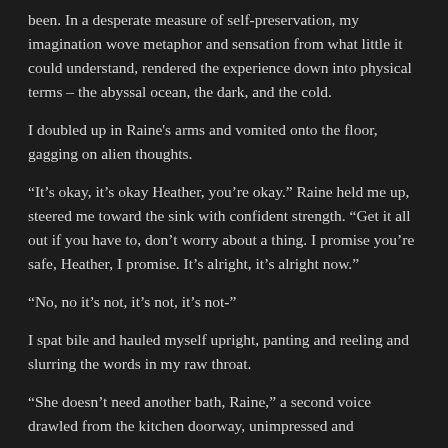been. In a desperate measure of self-preservation, my imagination wove metaphor and sensation from what little it could understand, rendered the experience down into physical terms – the abyssal ocean, the dark, and the cold.
I doubled up in Raine's arms and vomited onto the floor, gagging on alien thoughts.
“It’s okay, it’s okay Heather, you’re okay.” Raine held me up, steered me toward the sink with confident strength. “Get it all out if you have to, don’t worry about a thing. I promise you’re safe, Heather, I promise. It’s alright, it’s alright now.”
“No, no it’s not, it’s not, it’s not-”
I spat bile and hauled myself upright, panting and reeling and slurring the words in my raw throat.
“She doesn’t need another bath, Raine,” a second voice drawled from the kitchen doorway, unimpressed and